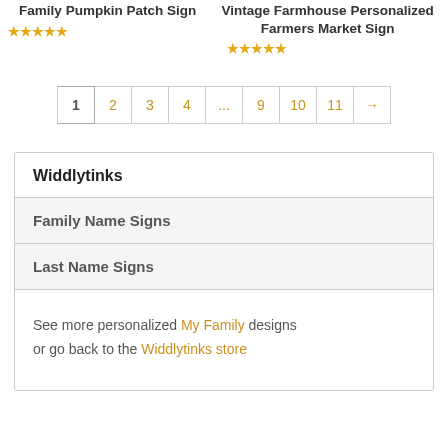Family Pumpkin Patch Sign
Vintage Farmhouse Personalized Farmers Market Sign
★★★★★
★★★★★
1 2 3 4 ... 9 10 11 →
| Widdlytinks |
| --- |
| Family Name Signs |
| Last Name Signs |
See more personalized My Family designs or go back to the Widdlytinks store